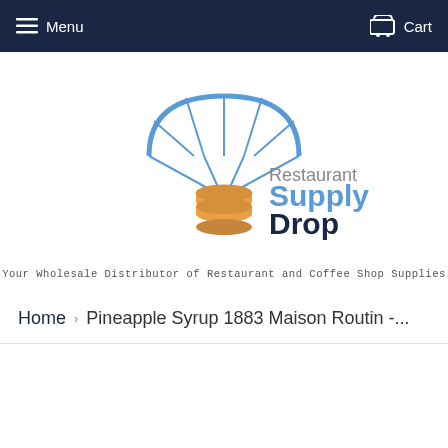Menu   Cart
[Figure (logo): Restaurant Supply Drop logo: blue parachute icon with orange stacked plates below, text 'Restaurant Supply Drop' in blue and dark navy]
Your Wholesale Distributor of Restaurant and Coffee Shop Supplies
Home › Pineapple Syrup 1883 Maison Routin -...